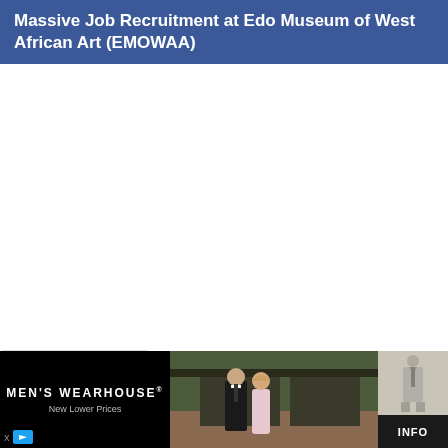Massive Job Recruitment at Edo Museum of West African Art (EMOWAA)
[Figure (photo): White blank/empty content area below the header]
[Figure (other): Collapse/chevron button UI element]
[Figure (photo): Men's Wearhouse advertisement banner showing a couple in formalwear, a man in a suit, with text MEN'S WEARHOUSE New Lower Prices and INFO button]